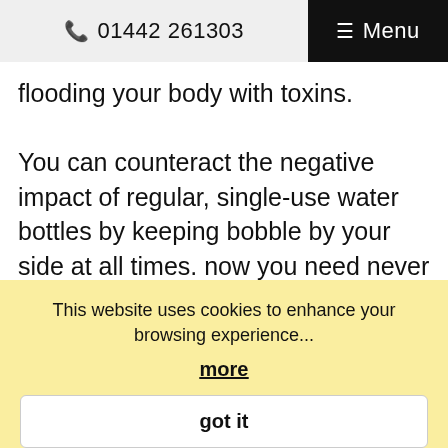📞 01442 261303  ☰ Menu
flooding your body with toxins.

You can counteract the negative impact of regular, single-use water bottles by keeping bobble by your side at all times. now you need never be without a healthy water source again. Take a look at our website for more information about bobble, our processes and the many benefits it holds for both your health and the
This website uses cookies to enhance your browsing experience...
more
got it